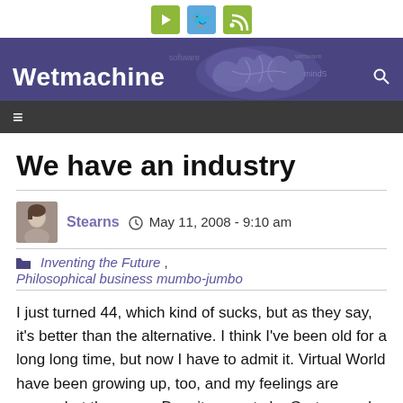[Figure (screenshot): Wetmachine blog website header with social icons (YouTube, Twitter, RSS), purple banner with site title 'Wetmachine' and brain graphic, dark navigation bar with hamburger menu]
We have an industry
Stearns   May 11, 2008 - 9:10 am
Inventing the Future, Philosophical business mumbo-jumbo
I just turned 44, which kind of sucks, but as they say, it's better than the alternative. I think I've been old for a long long time, but now I have to admit it. Virtual World have been growing up, too, and my feelings are somewhat the same. Despite reports by Gartner and Forrester, articles in the Wall Street Journal, Business Week and Information Week, and even popular press